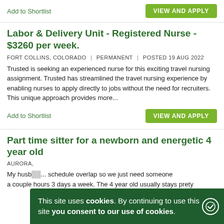Add to Shortlist
VIEW AND APPLY
Labor & Delivery Unit - Registered Nurse - $3260 per week.
FORT COLLINS, COLORADO | PERMANENT | POSTED 19 AUG 2022
Trusted is seeking an experienced nurse for this exciting travel nursing assignment. Trusted has streamlined the travel nursing experience by enabling nurses to apply directly to jobs without the need for recruiters. This unique approach provides more...
Add to Shortlist
VIEW AND APPLY
Part time sitter for a newborn and energetic 4 year old
AURORA,
My husb... schedule overlap so we just need someone a couple hours 3 days a week. The 4 year old usually stays prety
This site uses cookies. By continuing to use this site you consent to our use of cookies.